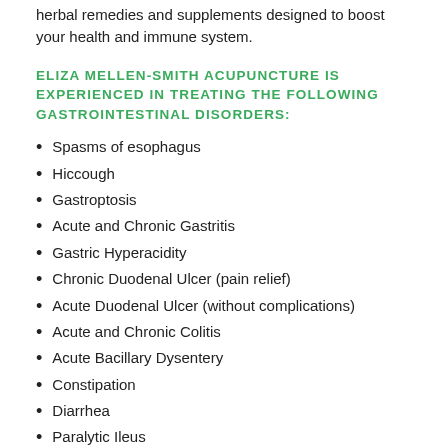herbal remedies and supplements designed to boost your health and immune system.
ELIZA MELLEN-SMITH ACUPUNCTURE IS EXPERIENCED IN TREATING THE FOLLOWING GASTROINTESTINAL DISORDERS:
Spasms of esophagus
Hiccough
Gastroptosis
Acute and Chronic Gastritis
Gastric Hyperacidity
Chronic Duodenal Ulcer (pain relief)
Acute Duodenal Ulcer (without complications)
Acute and Chronic Colitis
Acute Bacillary Dysentery
Constipation
Diarrhea
Paralytic Ileus